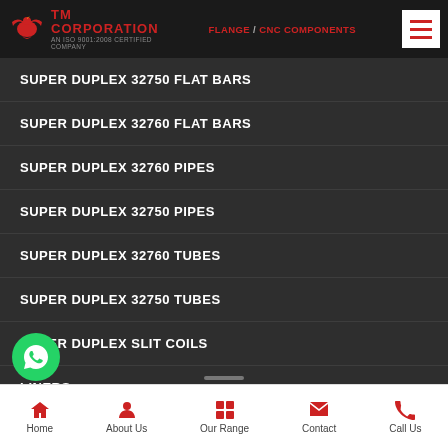TM CORPORATION - AN ISO 9001:2008 CERTIFIED COMPANY - FLANGE / CNC COMPONENTS
SUPER DUPLEX 32750 FLAT BARS
SUPER DUPLEX 32760 FLAT BARS
SUPER DUPLEX 32760 PIPES
SUPER DUPLEX 32750 PIPES
SUPER DUPLEX 32760 TUBES
SUPER DUPLEX 32750 TUBES
SUPER DUPLEX SLIT COILS
LINERS
SUPER DUPLEX 32750 NUT (partially visible)
Home | About Us | Our Range | Contact | Call Us